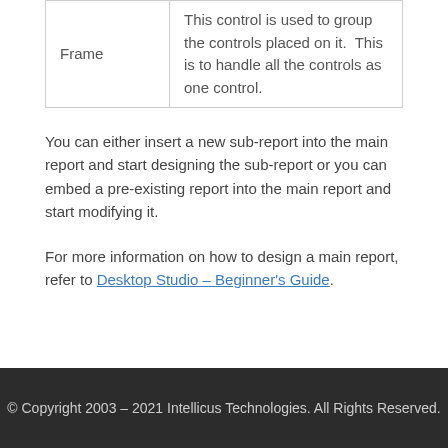| Frame | This control is used to group the controls placed on it.  This is to handle all the controls as one control. |
You can either insert a new sub-report into the main report and start designing the sub-report or you can embed a pre-existing report into the main report and start modifying it.
For more information on how to design a main report, refer to Desktop Studio – Beginner's Guide.
© Copyright 2003 – 2021 Intellicus Technologies. All Rights Reserved.